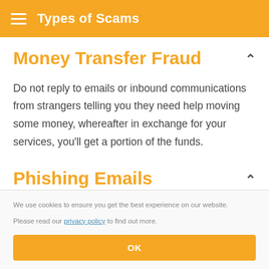Types of Scams
Money Transfer Fraud
Do not reply to emails or inbound communications from strangers telling you they need help moving some money, whereafter in exchange for your services, you'll get a portion of the funds.
Phishing Emails
We use cookies to ensure you get the best experience on our website.

Please read our privacy policy to find out more.
OK